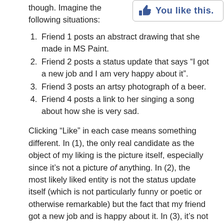though. Imagine the following situations:
[Figure (screenshot): Facebook 'You like this.' button/notification box with thumbs-up icon]
Friend 1 posts an abstract drawing that she made in MS Paint.
Friend 2 posts a status update that says “I got a new job and I am very happy about it”.
Friend 3 posts an artsy photograph of a beer.
Friend 4 posts a link to her singing a song about how she is very sad.
Clicking “Like” in each case means something different. In (1), the only real candidate as the object of my liking is the picture itself, especially since it’s not a picture of anything. In (2), the most likely liked entity is not the status update itself (which is not particularly funny or poetic or otherwise remarkable) but the fact that my friend got a new job and is happy about it. In (3), it’s not really clear: I could be liking the picture (since it’s so artsy and thus awesome) or the beer (since it’s beer). In (4), presumably I